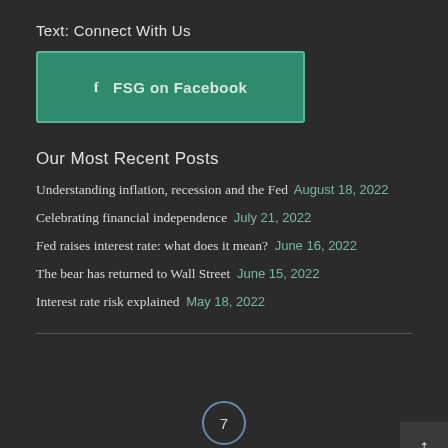Text: Connect With Us
[Figure (other): Green Facebook button with Facebook icon and text 'FSG on Facebook']
Our Most Recent Posts
Understanding inflation, recession and the Fed  August 18, 2022
Celebrating financial independence  July 21, 2022
Fed raises interest rate: what does it mean?  June 16, 2022
The bear has returned to Wall Street  June 15, 2022
Interest rate risk explained  May 18, 2022
7
Dream-Theme — truly premium WordPress themes